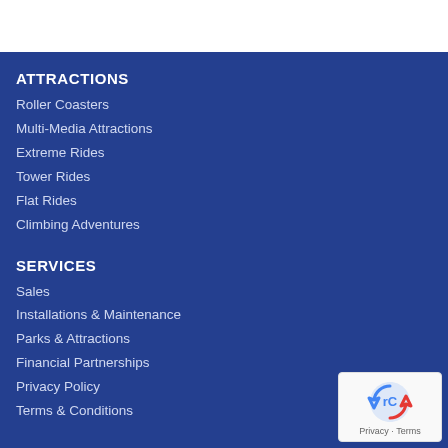ATTRACTIONS
Roller Coasters
Multi-Media Attractions
Extreme Rides
Tower Rides
Flat Rides
Climbing Adventures
SERVICES
Sales
Installations & Maintenance
Parks & Attractions
Financial Partnerships
Privacy Policy
Terms & Conditions
[Figure (logo): reCAPTCHA badge with Privacy and Terms links]